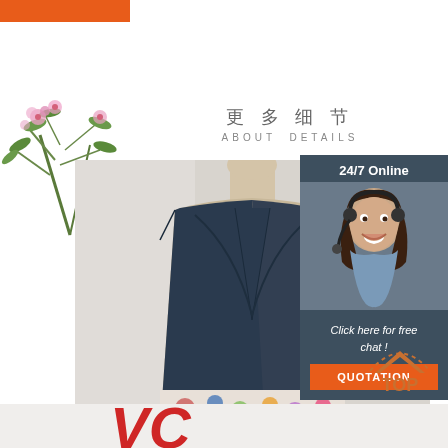[Figure (illustration): Orange horizontal bar at top left]
[Figure (photo): Pink flowering plant/tree branch with green leaves on left side]
更多细节 ABOUT DETAILS
[Figure (photo): Close-up photo of a mannequin wearing a dark navy blue wrap-style top with floral print at the bottom hem]
[Figure (photo): Right sidebar with dark background showing: 24/7 Online text, photo of smiling female customer service agent wearing headset, 'Click here for free chat!' text, and orange QUOTATION button]
[Figure (illustration): TOP badge with dotted arc above 'TOP' text in orange/brown colors]
[Figure (illustration): Red italic text arrow/chevron at bottom of page]